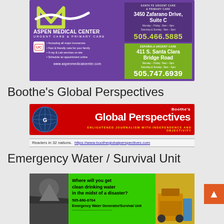[Figure (advertisement): Aspen Medical Center advertisement with purple background, showing logo, address 3450 Zafarano Drive Suite C, phone 505.466.5885, Española Urgent Care at 411 S. Santa Clara Bridge Road, phone 505.747.6939, website www.aspenmedicalcenter.com]
Boothe's Global Perspectives
[Figure (advertisement): Boothe's Global Perspectives advertisement with red background showing globe logo, title 'Boothe's Global Perspectives', tagline 'Enlightened Journalism with Independence and Objectivity']
Readers in 32 nations.   https://www.bootheglobalperspectives.com
Emergency Water / Survival Unit
[Figure (advertisement): Emergency Water / Survival Unit advertisement with green background, text 'Where will you get clean drinking water in the midst of a disaster?', phone 505-860-0704, product name Emergency Water Generator/Survival Unit]